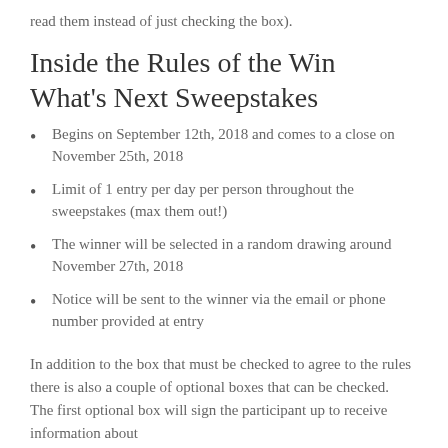read them instead of just checking the box).
Inside the Rules of the Win What's Next Sweepstakes
Begins on September 12th, 2018 and comes to a close on November 25th, 2018
Limit of 1 entry per day per person throughout the sweepstakes (max them out!)
The winner will be selected in a random drawing around November 27th, 2018
Notice will be sent to the winner via the email or phone number provided at entry
In addition to the box that must be checked to agree to the rules there is also a couple of optional boxes that can be checked.  The first optional box will sign the participant up to receive information about